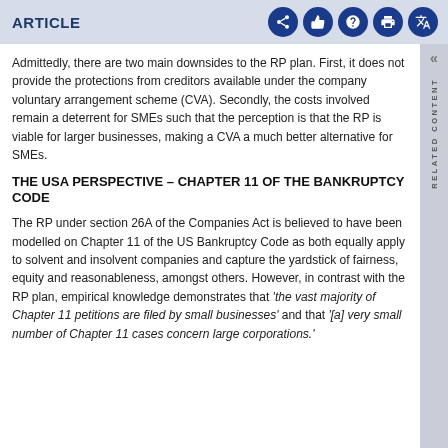ARTICLE
Admittedly, there are two main downsides to the RP plan. First, it does not provide the protections from creditors available under the company voluntary arrangement scheme (CVA). Secondly, the costs involved remain a deterrent for SMEs such that the perception is that the RP is viable for larger businesses, making a CVA a much better alternative for SMEs.
THE USA PERSPECTIVE – CHAPTER 11 OF THE BANKRUPTCY CODE
The RP under section 26A of the Companies Act is believed to have been modelled on Chapter 11 of the US Bankruptcy Code as both equally apply to solvent and insolvent companies and capture the yardstick of fairness, equity and reasonableness, amongst others. However, in contrast with the RP plan, empirical knowledge demonstrates that 'the vast majority of Chapter 11 petitions are filed by small businesses' and that '[a] very small number of Chapter 11 cases concern large corporations.'